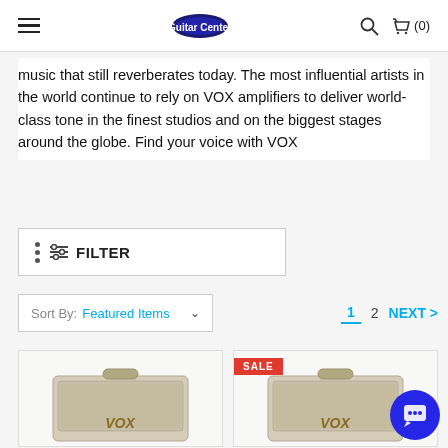Navigation header with hamburger menu, logo, search icon, and cart (0)
music that still reverberates today. The most influential artists in the world continue to rely on VOX amplifiers to deliver world-class tone in the finest studios and on the biggest stages around the globe. Find your voice with VOX
FILTER
Sort By: Featured Items  1  2  NEXT >
[Figure (photo): Product image of a VOX amplifier (beige/cream colored combo amp)]
[Figure (photo): Product image of a VOX amplifier with SALE badge (beige/cream colored combo amp)]